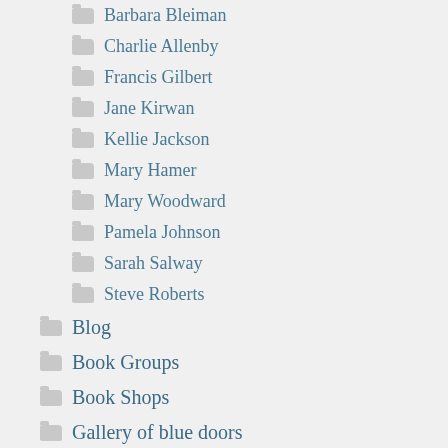Barbara Bleiman
Charlie Allenby
Francis Gilbert
Jane Kirwan
Kellie Jackson
Mary Hamer
Mary Woodward
Pamela Johnson
Sarah Salway
Steve Roberts
Blog
Book Groups
Book Shops
Gallery of blue doors